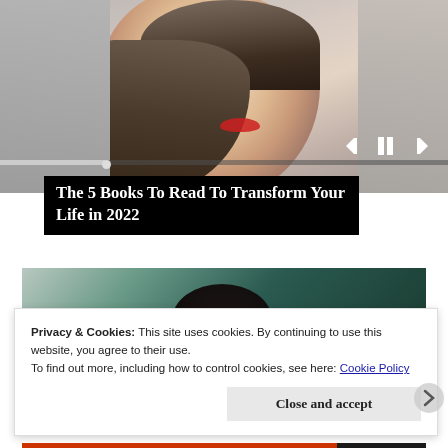[Figure (photo): Photo of a young woman with dark braided hair, red lipstick, looking to the side, against a gray background. Media player controls visible at bottom right of image with a progress bar.]
The 5 Books To Read To Transform Your Life in 2022
[Figure (photo): Partial photo showing the top of a person's head with dark hair against a teal/green background.]
Privacy & Cookies: This site uses cookies. By continuing to use this website, you agree to their use.
To find out more, including how to control cookies, see here: Cookie Policy
Close and accept